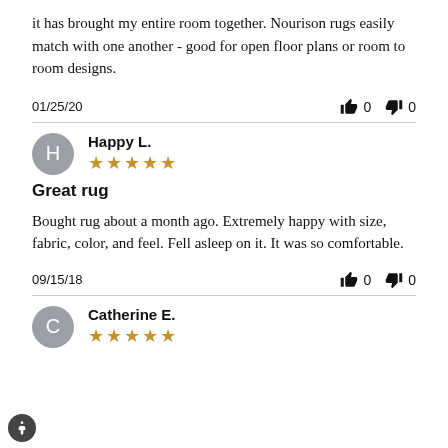it has brought my entire room together. Nourison rugs easily match with one another - good for open floor plans or room to room designs.
01/25/20   👍 0   👎 0
Happy L. ★★★★★
Great rug
Bought rug about a month ago. Extremely happy with size, fabric, color, and feel. Fell asleep on it. It was so comfortable.
09/15/18   👍 0   👎 0
Catherine E. ★★★★★